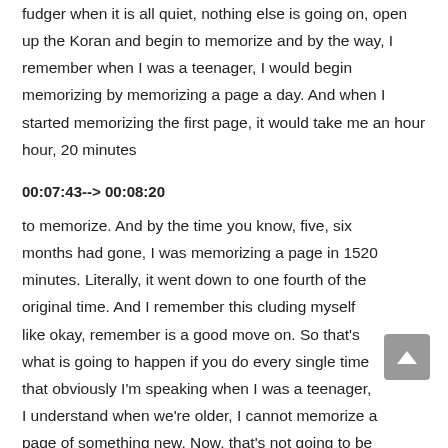fudger when it is all quiet, nothing else is going on, open up the Koran and begin to memorize and by the way, I remember when I was a teenager, I would begin memorizing by memorizing a page a day. And when I started memorizing the first page, it would take me an hour hour, 20 minutes
00:07:43--> 00:08:20
to memorize. And by the time you know, five, six months had gone, I was memorizing a page in 1520 minutes. Literally, it went down to one fourth of the original time. And I remember this cluding myself like okay, remember is a good move on. So that's what is going to happen if you do every single time that obviously I'm speaking when I was a teenager, I understand when we're older, I cannot memorize a page of something new. Now, that's not going to be possible. But the